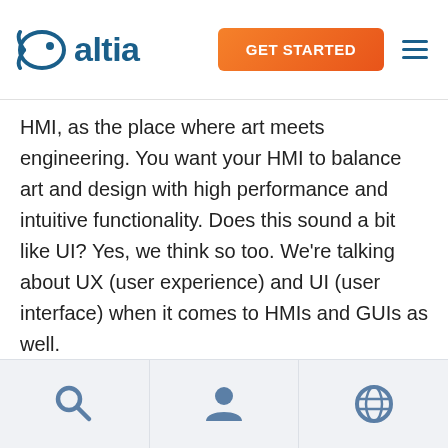altia | GET STARTED
HMI, as the place where art meets engineering. You want your HMI to balance art and design with high performance and intuitive functionality. Does this sound a bit like UI? Yes, we think so too. We’re talking about UX (user experience) and UI (user interface) when it comes to HMIs and GUIs as well.
Now, what about GUI vs. HMI? GUI (pronounced gooey), or graphical user interface, is a term that software engineers tend to know and use
Search | User | Globe